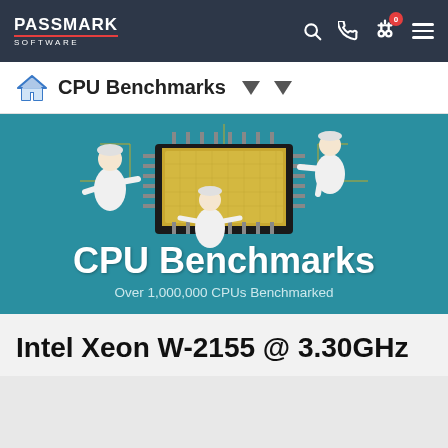PASSMARK SOFTWARE - Navigation bar with search, phone, compare (0), and menu icons
CPU Benchmarks
[Figure (illustration): CPU Benchmarks banner with teal background showing illustrated technicians in white lab coats working on a large CPU chip with gold circuit board traces. Large white text reads 'CPU Benchmarks' with subtitle 'Over 1,000,000 CPUs Benchmarked']
Intel Xeon W-2155 @ 3.30GHz